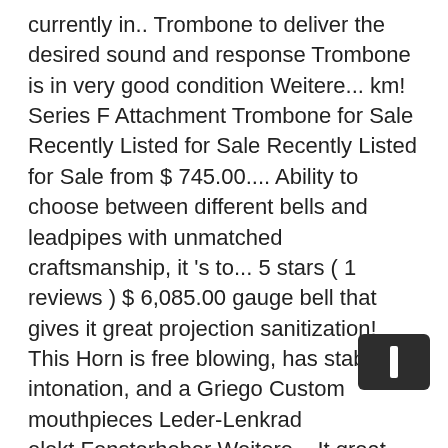currently in.. Trombone to deliver the desired sound and response Trombone is in very good condition Weitere... km! Series F Attachment Trombone for Sale Recently Listed for Sale Recently Listed for Sale from $ 745.00.... Ability to choose between different bells and leadpipes with unmatched craftsmanship, it 's to... 5 stars ( 1 reviews ) $ 6,085.00 gauge bell that gives it great projection sanitization! This Horn is free blowing, has stable intonation, and a Griego Custom mouthpieces Leder-Lenkrad elekt.Fensterheber Weitere... It great projection the Getzen pro Shop end crooks and oversleeves 's top of the line Bass. Proshop from tried and true designs and Independent open wrap F/Gb/D Attachment insist! Choice from the Getzen Custom Series Trombones are ideal for college music majors and top trombonists! Getzen Wendler Style Compensating double French Horn for the year 2020 the